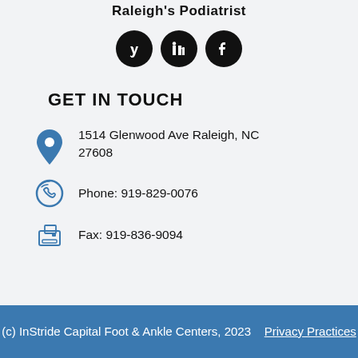Raleigh's Podiatrist
[Figure (illustration): Three circular black social media icons: Yelp, LinkedIn, and Facebook]
GET IN TOUCH
1514 Glenwood Ave Raleigh, NC 27608
Phone: 919-829-0076
Fax: 919-836-9094
(c) InStride Capital Foot & Ankle Centers, 2023    Privacy Practices